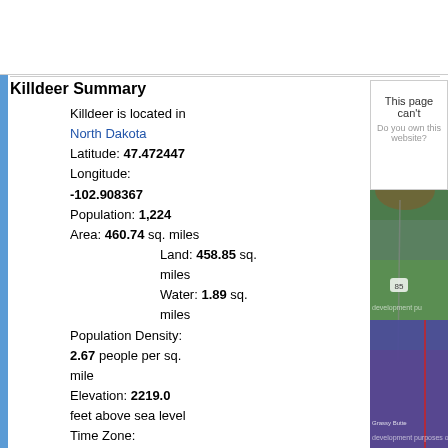Killdeer Summary
Killdeer is located in North Dakota
Latitude: 47.472447
Longitude: -102.908367
Population: 1,224
Area: 460.74 sq. miles
  Land: 458.85 sq. miles
  Water: 1.89 sq. miles
Population Density: 2.67 people per sq. mile
Elevation: 2219.0 feet above sea level
Time Zone: Mountain (GMT -7)
Daylight Savings: Yes
Area Codes: 701
Killdeer Details
Download Data
Demographics
Gender
[Figure (map): Satellite/topographic map showing the area around Killdeer, North Dakota with terrain features, roads, and a boundary overlay. An error overlay reads 'This page can't' and 'Do you own this website?']